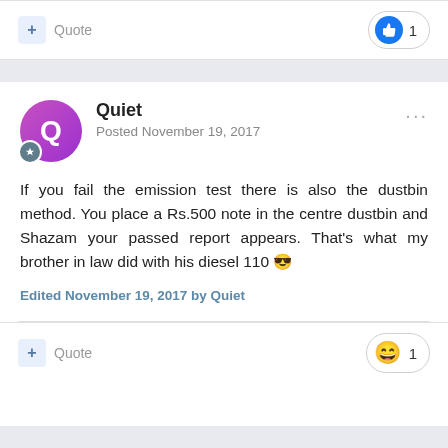+ Quote   👍 1
Quiet
Posted November 19, 2017
If you fail the emission test there is also the dustbin method. You place a Rs.500 note in the centre dustbin and Shazam your passed report appears. That's what my brother in law did with his diesel 110 😎
Edited November 19, 2017 by Quiet
+ Quote   😄 1